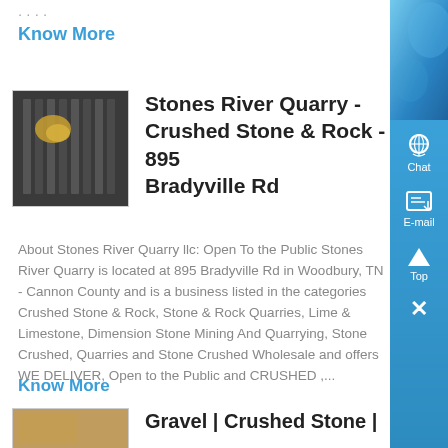....
Know More
[Figure (photo): Small thumbnail photo of quarry machinery, dark tones]
Stones River Quarry - Crushed Stone & Rock - 895 Bradyville Rd
About Stones River Quarry llc: Open To the Public Stones River Quarry is located at 895 Bradyville Rd in Woodbury, TN - Cannon County and is a business listed in the categories Crushed Stone & Rock, Stone & Rock Quarries, Lime & Limestone, Dimension Stone Mining And Quarrying, Stone Crushed, Quarries and Stone Crushed Wholesale and offers WE DELIVER, Open to the Public and CRUSHED ,...
Know More
[Figure (photo): Small thumbnail photo of gravel or crushed stone]
Gravel | Crushed Stone |